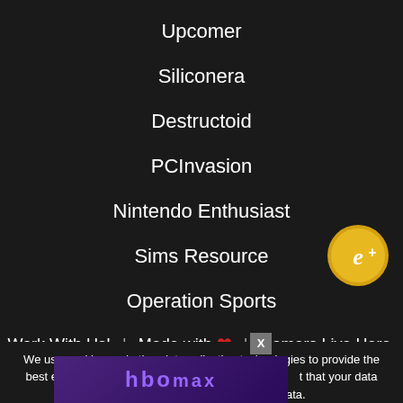Upcomer
Siliconera
Destructoid
PCInvasion
Nintendo Enthusiast
Sims Resource
Operation Sports
Work With Us!  |  Made with ❤  |  Gamers Live Here.
[Figure (logo): Gold circular badge with italic 'e+' text]
We use cookies and other data collection technologies to provide the best experience for our customers. You may request that your data not be shared...ell My Data.
[Figure (logo): HBO Max logo on purple/dark violet banner with X close button]